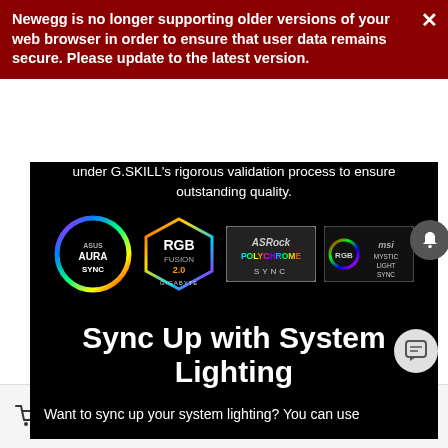Newegg is no longer supporting older versions of your web browser in order to ensure that user data remains secure. Please update to the latest version.
under G.SKILL's rigorous validation process to ensure outstanding quality.
[Figure (logo): Row of RGB sync logos: ASUS AURA SYNC, GIGABYTE RGB FUSION 2.0, ASRock POLYCHROME SYNC, MSI MYSTIC LIGHT SYNC]
Sync Up with System Lighting
Want to sync up your system lighting? You can use
ADD TO CART